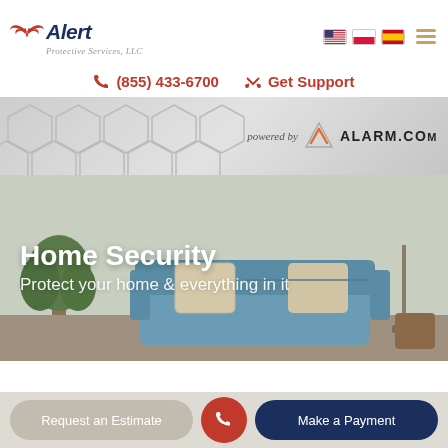[Figure (logo): Alert Protective Services LLC logo with red wings and italic text, flag icons (US, Polish, Spanish) and hamburger menu on right]
(855) 433-6700   Get Support
[Figure (illustration): Light gray banner with honeycomb/hexagon pattern on left and 'powered by ALARM.COM' badge on right]
[Figure (photo): Photo of a living room with a blue sofa, decorative pillows, and a potted plant overlaid with white text 'Home Security' and 'Protect your home & everything in it']
Home Security
Protect your home & everything in it
Request an Estimate   Make a Payment